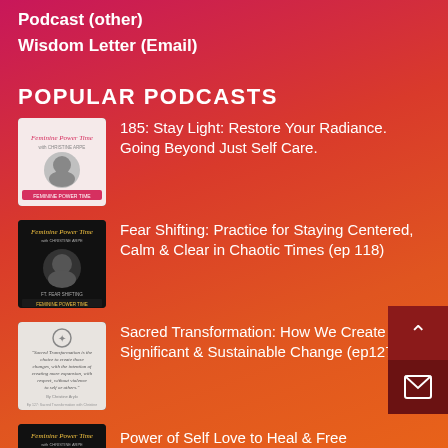Podcast (other)
Wisdom Letter (Email)
POPULAR PODCASTS
185: Stay Light: Restore Your Radiance. Going Beyond Just Self Care.
Fear Shifting: Practice for Staying Centered, Calm & Clear in Chaotic Times (ep 118)
Sacred Transformation: How We Create Significant & Sustainable Change (ep127)
Power of Self Love to Heal & Free